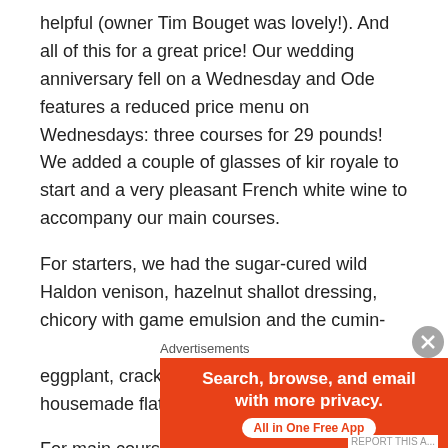helpful (owner Tim Bouget was lovely!). And all of this for a great price! Our wedding anniversary fell on a Wednesday and Ode features a reduced price menu on Wednesdays: three courses for 29 pounds! We added a couple of glasses of kir royale to start and a very pleasant French white wine to accompany our main courses.
For starters, we had the sugar-cured wild Haldon venison, hazelnut shallot dressing, chicory with game emulsion and the cumin-crusted, line-caught pollack, smoked eggplant, cracked wheat and coriander oil. A housemade flatbread was also served.
For main courses, I ordered the carmelized Crediton duck
[Figure (other): DuckDuckGo advertisement banner with orange background on left side reading 'Search, browse, and email with more privacy. All in One Free App' and DuckDuckGo logo on dark right side.]